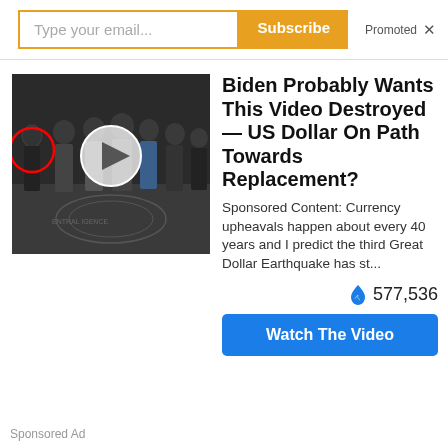Type your email...
Subscribe
Promoted X
[Figure (photo): Group of people in formal attire standing in what appears to be a CIA building lobby with CIA seal on floor. One person is circled in red on left, and a play button circle overlay is in center.]
Biden Probably Wants This Video Destroyed — US Dollar On Path Towards Replacement?
Sponsored Content: Currency upheavals happen about every 40 years and I predict the third Great Dollar Earthquake has st...
577,536
Watch The Video
Sponsored Ad